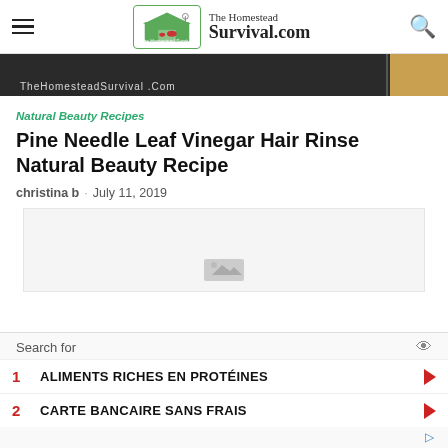The Homestead Survival.com
[Figure (photo): Hero image banner showing hair, with overlay text 'TheHomesteadSurvival.Com' and an amber/gold patch on the right side]
Natural Beauty Recipes
Pine Needle Leaf Vinegar Hair Rinse Natural Beauty Recipe
christina b · July 11, 2019
[Figure (screenshot): Advertisement placeholder box with a small image icon at the bottom center]
Search for
1 ALIMENTS RICHES EN PROTÉINES
2 CARTE BANCAIRE SANS FRAIS